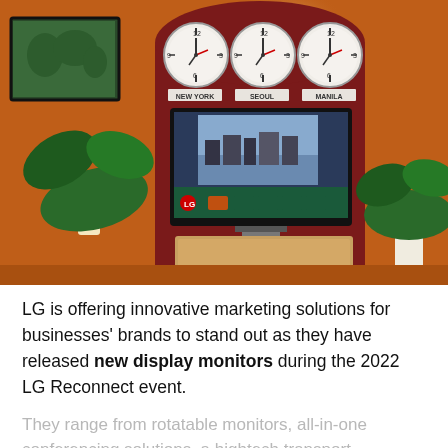[Figure (photo): Photo of an LG display monitor setup in a warm orange room. Three wall clocks labeled NEW YORK, SEOUL, and MANILA are mounted above an arched dark red backdrop. An LG TV/monitor on a wooden stand shows a smart home interface. Green tropical plants flank the setup. A world map painting hangs on the left wall, and a floor lamp provides warm lighting.]
LG is offering innovative marketing solutions for businesses' brands to stand out as they have released new display monitors during the 2022 LG Reconnect event.
They range from rotatable monitors, all-in-one conferencing solutions, a hightech transport...